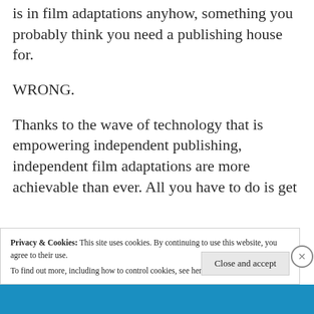is in film adaptations anyhow, something you probably think you need a publishing house for.
WRONG.
Thanks to the wave of technology that is empowering independent publishing, independent film adaptations are more achievable than ever. All you have to do is get
Privacy & Cookies: This site uses cookies. By continuing to use this website, you agree to their use.
To find out more, including how to control cookies, see here: Cookie Policy